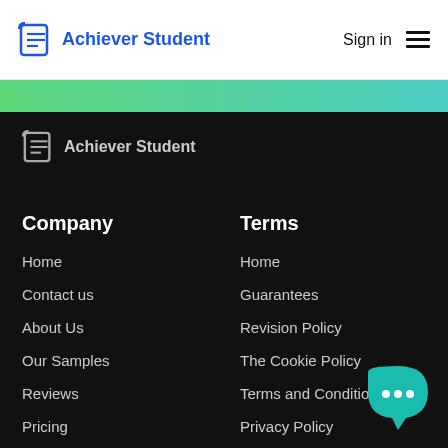Achiever Student | Sign in
[Figure (illustration): Green gradient stripe divider]
[Figure (logo): Achiever Student footer logo with document icon]
Company
Home
Contact us
About Us
Our Samples
Reviews
Pricing
Terms
Home
Guarantees
Revision Policy
The Cookie Policy
Terms and Conditions
Privacy Policy
[Figure (illustration): Teal chat bubble with three white dots]